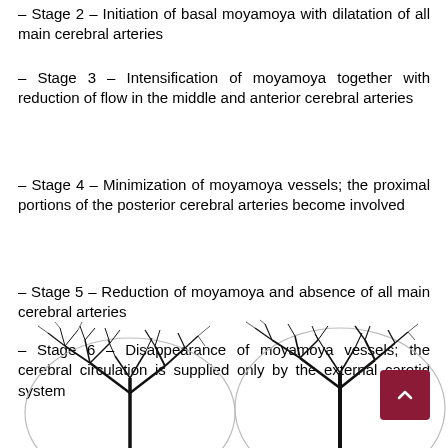– Stage 2 – Initiation of basal moyamoya with dilatation of all main cerebral arteries
– Stage 3 – Intensification of moyamoya together with reduction of flow in the middle and anterior cerebral arteries
– Stage 4 – Minimization of moyamoya vessels; the proximal portions of the posterior cerebral arteries become involved
– Stage 5 – Reduction of moyamoya and absence of all main cerebral arteries
– Stage 6 – Disappearance of moyamoya vessels; the cerebral circulation is supplied only by the external carotid system
[Figure (illustration): Two black-and-white cerebral angiography images showing brain vasculature (moyamoya disease), shown side by side at the bottom of the page.]